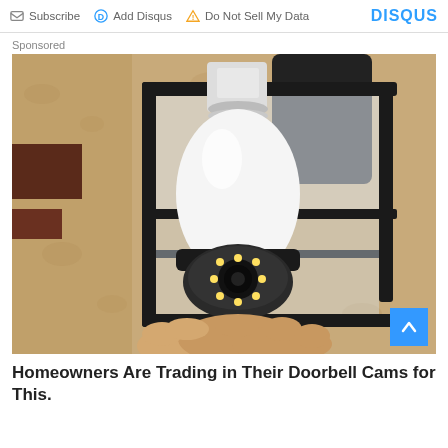Subscribe  Add Disqus  Do Not Sell My Data  DISQUS
Sponsored
[Figure (photo): A white security camera shaped like a light bulb installed inside a black outdoor wall lantern fixture, mounted on a textured stone/stucco wall. A hand is visible holding the camera from below.]
Homeowners Are Trading in Their Doorbell Cams for This.